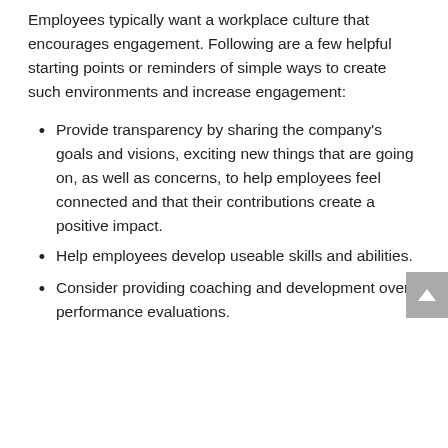Employees typically want a workplace culture that encourages engagement. Following are a few helpful starting points or reminders of simple ways to create such environments and increase engagement:
Provide transparency by sharing the company's goals and visions, exciting new things that are going on, as well as concerns, to help employees feel connected and that their contributions create a positive impact.
Help employees develop useable skills and abilities.
Consider providing coaching and development over performance evaluations.